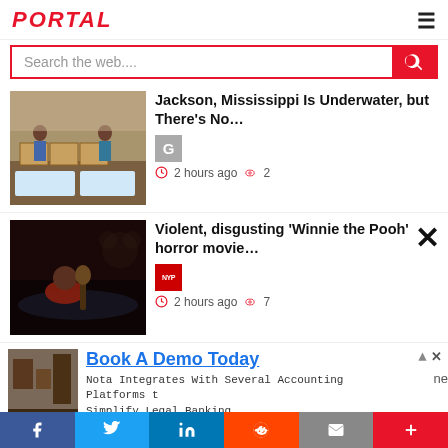PORTAL
Search the web....
[Figure (photo): People loading boxes of water bottles in a warehouse/distribution center]
Jackson, Mississippi Is Underwater, but There's No...
G  2 hours ago  2
[Figure (photo): Dark horror movie still showing a person in water, likely from Winnie the Pooh horror film]
Violent, disgusting 'Winnie the Pooh' horror movie...
NYP  2 hours ago  7
[Figure (photo): Partial ad thumbnail image]
Book A Demo Today
Nota Integrates With Several Accounting Platforms to Simplify Legal Banking.
f  Twitter  in  Reddit  mail  +